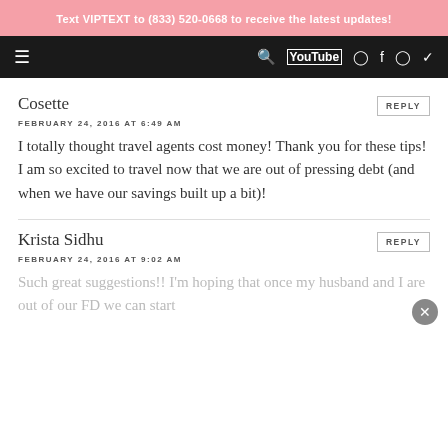Text VIPTEXT to (833) 520-0668 to receive the latest updates!
Cosette
FEBRUARY 24, 2016 AT 6:49 AM
I totally thought travel agents cost money! Thank you for these tips! I am so excited to travel now that we are out of pressing debt (and when we have our savings built up a bit)!
Krista Sidhu
FEBRUARY 24, 2016 AT 9:02 AM
Such great suggestions!! I'm hoping that once my husband and I are out of our FD we can start